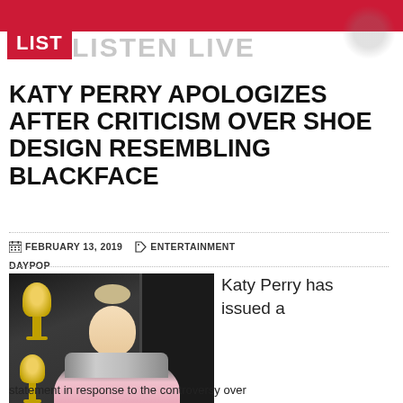ARCHI LIST — LISTEN LIVE
KATY PERRY APOLOGIZES AFTER CRITICISM OVER SHOE DESIGN RESEMBLING BLACKFACE
FEBRUARY 13, 2019  ENTERTAINMENT DAYPOP
[Figure (photo): Katy Perry in a pink and silver dress at a red carpet event with Grammy trophies in the background]
Katy Perry has issued a
statement in response to the controversy over